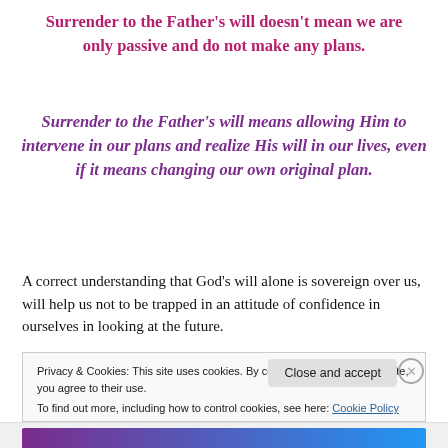Surrender to the Father's will doesn't mean we are only passive and do not make any plans.
Surrender to the Father's will means allowing Him to intervene in our plans and realize His will in our lives, even if it means changing our own original plan.
A correct understanding that God's will alone is sovereign over us, will help us not to be trapped in an attitude of confidence in ourselves in looking at the future.
Privacy & Cookies: This site uses cookies. By continuing to use this website, you agree to their use. To find out more, including how to control cookies, see here: Cookie Policy
Close and accept